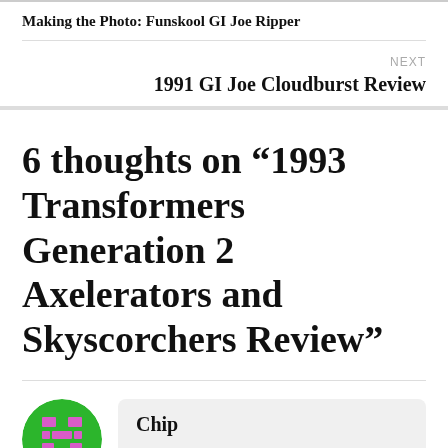Making the Photo: Funskool GI Joe Ripper
NEXT
1991 GI Joe Cloudburst Review
6 thoughts on “1993 Transformers Generation 2 Axelerators and Skyscorchers Review”
Chip